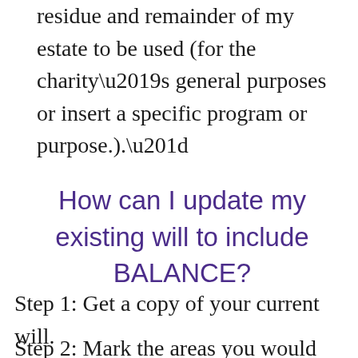residue and remainder of my estate to be used (for the charity’s general purposes or insert a specific program or purpose.).”
How can I update my existing will to include BALANCE?
Step 1: Get a copy of your current will.
Step 2: Mark the areas you would